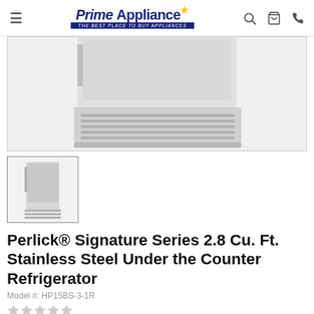Prime Appliance — THE BEST PLACE TO BUY APPLIANCES
[Figure (photo): Close-up photo of a stainless steel under-counter refrigerator showing the bottom portion with ventilation grille]
[Figure (photo): Thumbnail of the full stainless steel under-counter refrigerator product]
Perlick® Signature Series 2.8 Cu. Ft. Stainless Steel Under the Counter Refrigerator
Model #: HP15BS-3-1R